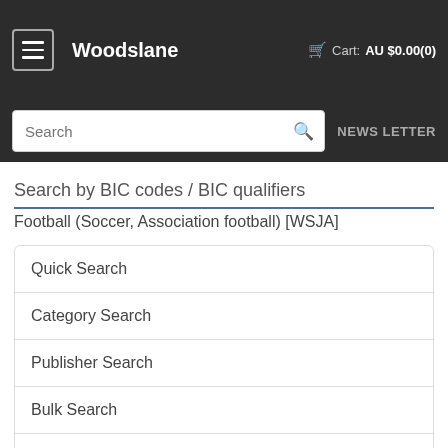Woodslane  Cart: AU $0.00(0)
Search
NEWS LETTER
Search by BIC codes / BIC qualifiers
Football (Soccer, Association football) [WSJA]
Quick Search
Category Search
Publisher Search
Bulk Search
Clear Search
Sort by